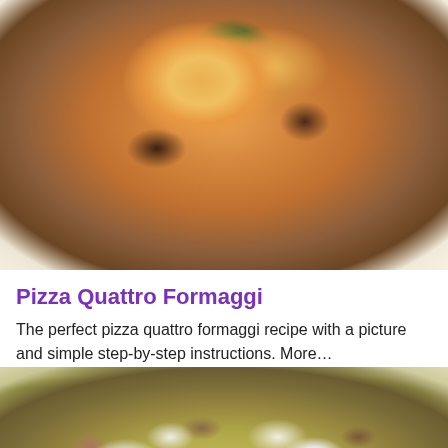[Figure (photo): Photo of a Pizza Quattro Formaggi on a white plate, showing a round pizza with golden-brown crust, red tomato sauce, melted cheese, and fresh basil leaves on top]
Pizza Quattro Formaggi
The perfect pizza quattro formaggi recipe with a picture and simple step-by-step instructions. More…
[Figure (photo): Photo of another pizza with white melted mozzarella cheese, mushrooms, and ham on a light yellow-green crust]